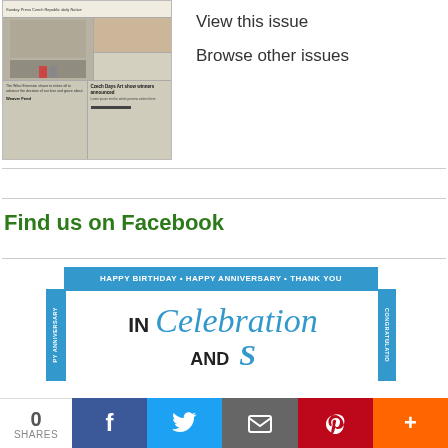[Figure (photo): Newspaper front page thumbnail showing a building, people, a fox/animal photo, and article about Czech Days Art show winners announced]
View this issue
Browse other issues
Find us on Facebook
[Figure (photo): In Celebration advertisement banner with blue borders showing HAPPY BIRTHDAY • HAPPY ANNIVERSARY • THANK YOU text and CONGRATULATIONS on the side]
0
SHARES